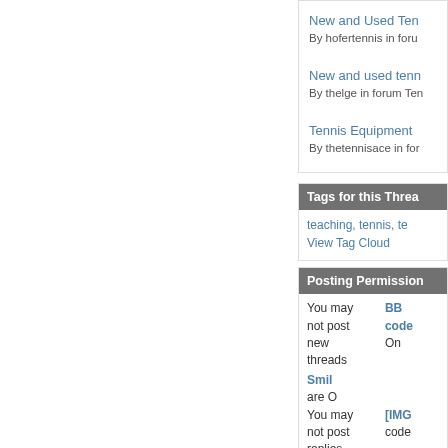New and Used Ten...
By hofertennis in foru...
New and used tenn...
By thelge in forum Ten...
Tennis Equipment...
By thetennisace in for...
Tags for this Threa...
teaching, tennis, te... View Tag Cloud
Posting Permission...
You may not post new threads
BB code On
Smilies are O...
You may not post replies
[IMG] code...